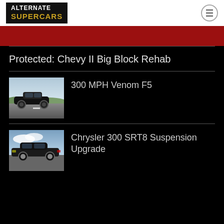ALTERNATE SUPERCARS
Protected: Chevy II Big Block Rehab
300 MPH Venom F5
Chrysler 300 SRT8 Suspension Upgrade